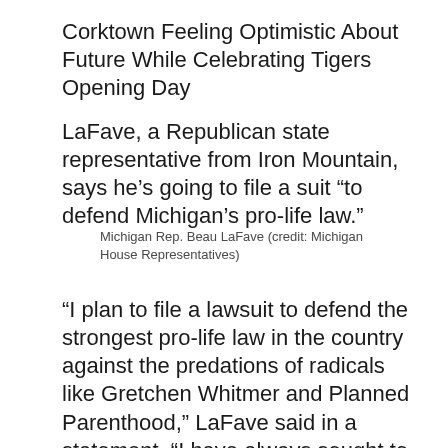Corktown Feeling Optimistic About Future While Celebrating Tigers Opening Day
LaFave, a Republican state representative from Iron Mountain, says he’s going to file a suit “to defend Michigan’s pro-life law.”
Michigan Rep. Beau LaFave (credit: Michigan House Representatives)
“I plan to file a lawsuit to defend the strongest pro-life law in the country against the predations of radicals like Gretchen Whitmer and Planned Parenthood,” LaFave said in a statement. “I have always sought to protect the sanctity of human life. Every human life is worth fighting for. ”